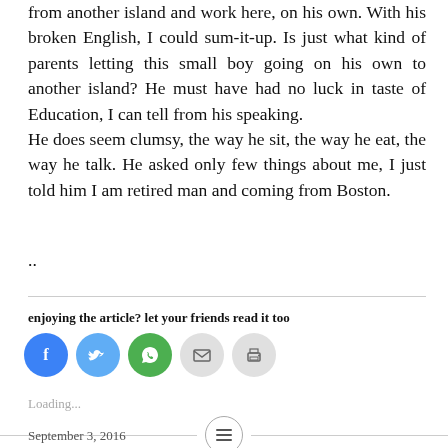from another island and work here, on his own. With his broken English, I could sum-it-up. Is just what kind of parents letting this small boy going on his own to another island? He must have had no luck in taste of Education, I can tell from his speaking.
He does seem clumsy, the way he sit, the way he eat, the way he talk. He asked only few things about me, I just told him I am retired man and coming from Boston.
..
enjoying the article? let your friends read it too
[Figure (other): Social share buttons: Facebook (blue circle), Twitter (light blue circle), WhatsApp (green circle), Email (grey circle), Print (grey circle)]
Loading...
September 3, 2016